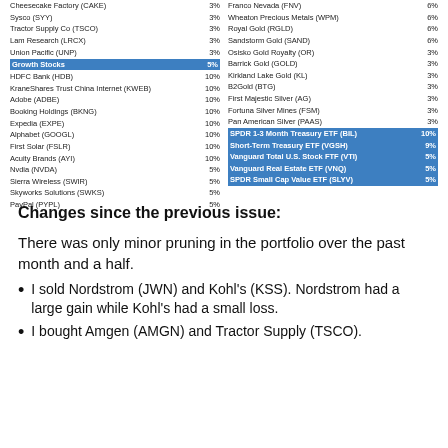| Stock | Pct |
| --- | --- |
| Cheesecake Factory (CAKE) | 3% |
| Sysco (SYY) | 3% |
| Tractor Supply Co (TSCO) | 3% |
| Lam Research (LRCX) | 3% |
| Union Pacific (UNP) | 3% |
| Growth Stocks | 5% |
| HDFC Bank (HDB) | 10% |
| KraneShares Trust China Internet (KWEB) | 10% |
| Adobe (ADBE) | 10% |
| Booking Holdings (BKNG) | 10% |
| Expedia (EXPE) | 10% |
| Alphabet (GOOGL) | 10% |
| First Solar (FSLR) | 10% |
| Acuity Brands (AYI) | 10% |
| Nvdia (NVDA) | 5% |
| Sierra Wireless (SWIR) | 5% |
| Skyworks Solutions (SWKS) | 5% |
| PayPal (PYPL) | 5% |
| Stock | Pct |
| --- | --- |
| Franco Nevada (FNV) | 6% |
| Wheaton Precious Metals (WPM) | 6% |
| Royal Gold (RGLD) | 6% |
| Sandstorm Gold (SAND) | 6% |
| Osisko Gold Royalty (OR) | 3% |
| Barrick Gold (GOLD) | 3% |
| Kirkland Lake Gold (KL) | 3% |
| B2Gold (BTG) | 3% |
| First Majestic Silver (AG) | 3% |
| Fortuna Silver Mines (FSM) | 3% |
| Pan American Silver (PAAS) | 3% |
| SPDR 1-3 Month Treasury ETF (BIL) | 10% |
| Short-Term Treasury ETF (VGSH) | 9% |
| Vanguard Total U.S. Stock FTF (VTI) | 5% |
| Vanguard Real Estate ETF (VNQ) | 5% |
| SPDR Small Cap Value ETF (SLYV) | 5% |
Changes since the previous issue:
There was only minor pruning in the portfolio over the past month and a half.
I sold Nordstrom (JWN) and Kohl's (KSS). Nordstrom had a large gain while Kohl's had a small loss.
I bought Amgen (AMGN) and Tractor Supply (TSCO).